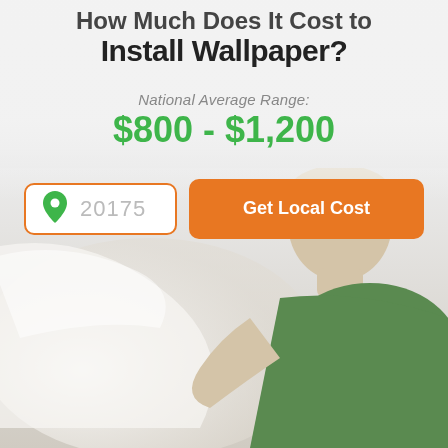How Much Does It Cost to Install Wallpaper?
National Average Range:
$800 - $1,200
[Figure (screenshot): Zip code input field showing '20175' with a green map pin icon on the left, and an orange 'Get Local Cost' button to the right]
[Figure (photo): Background photo of a person in a green shirt peeling/installing wallpaper, viewed from above]